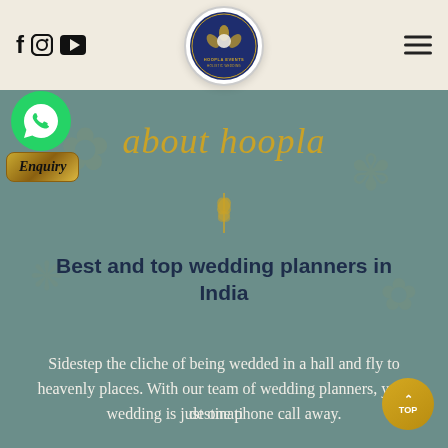Hoopla Events - Navigation header with social icons (Facebook, Instagram, YouTube), Hoopla Events logo, and hamburger menu
[Figure (logo): Hoopla Events circular logo with navy blue background and flower/hands design, text reading HOOPLA EVENTS HOLISTIC WEDDING CRAFTER]
[Figure (illustration): WhatsApp green circular icon with phone handset]
Enquiry
about hoopla
Best and top wedding planners in India
Sidestep the cliche of being wedded in a hall and fly to heavenly places. With our team of wedding planners, your destination wedding is just one phone call away.
[Figure (illustration): TOP button - golden circular button with upward arrow and TOP text]